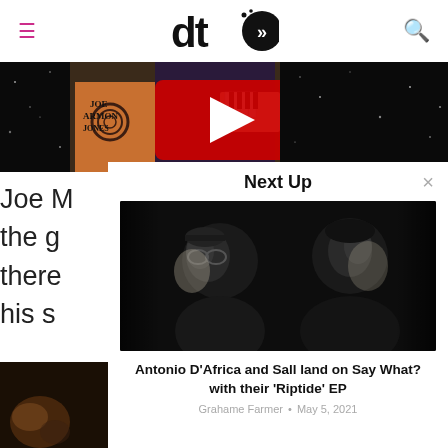dto (logo)
[Figure (screenshot): YouTube video thumbnail strip showing Joe Armon-Jones album art with a YouTube play button overlay, colorful instruments and space background]
Joe M
the g
there
his s
[Figure (other): Partial dark concert photo at bottom left]
Next Up
[Figure (photo): Black and white dramatic photo of two people (Antonio D'Africa and Sall) against a dark background]
Antonio D'Africa and Sall land on Say What? with their 'Riptide' EP
Grahame Farmer • May 5, 2021